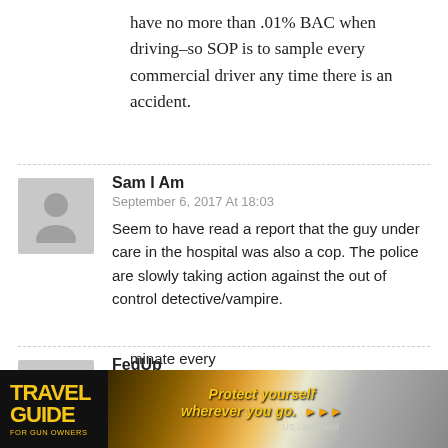have no more than .01% BAC when driving–so SOP is to sample every commercial driver any time there is an accident.
Sam I Am
September 6, 2017 At 18:03
Seem to have read a report that the guy under care in the hospital was also a cop. The police are slowly taking action against the out of control detective/vampire.
FedUp
September 5, 2017 At 10:58
I think it's the training, especially the Farce Science Institute's notion that the only way for [ad banner] minate every [ad banner] nse to
[Figure (other): Travel Guide for Gun Owners advertisement banner with text 'Protect yourself wherever you go.' and US LawShield logo]